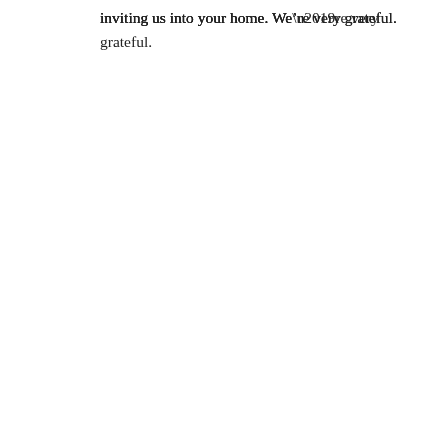inviting us into your home. We’re very grateful.
Taymor
Oh, you’re welcome.
Knott
If you could just give us a little bit of background about yourself, how you became interested or active in politics, that would be the best place to start.
Taymor
Well, I was thinking about that. Let’s see, I got married in 1942 and had children soon after the war ended. And then, when we moved to Boston, I had two children very close together, less than a year and a half apart, and my husband was training in surgery and wasn’t home very much. So after a while I enlisted a college girl, what we call a mother’s helper, to live with me and help me. And she said to me, “You’re not going to just do this for the rest of your